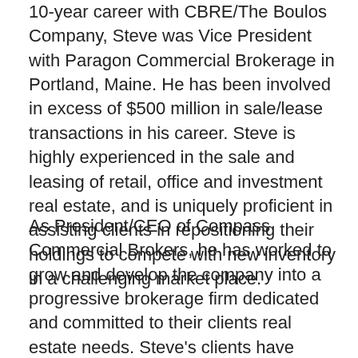10-year career with CBRE/The Boulos Company, Steve was Vice President with Paragon Commercial Brokerage in Portland, Maine. He has been involved in excess of $500 million in sale/lease transactions in his career. Steve is highly experienced in the sale and leasing of retail, office and investment real estate, and is uniquely proficient in assisting clients in repositioning their holdings to compete with new inventory in a challenging market place.
As President/CEO of Compass Commercial Brokers, he has worked to grow and develop the company into a progressive brokerage firm dedicated and committed to their clients real estate needs. Steve's clients have benefited from his unique ability in marketing commercial real estate with successful returns from re-imaging static properties, which as